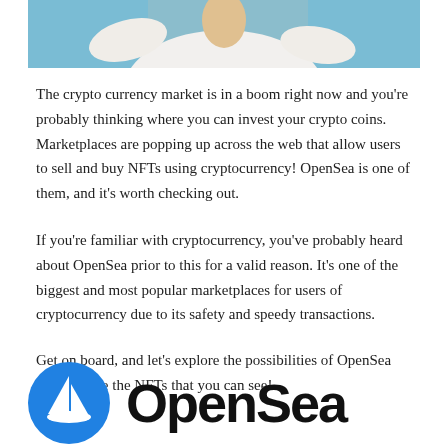[Figure (photo): Cropped photo of a person wearing a white sleeveless top against a teal/blue background, only the lower portion of the torso and arms visible.]
The crypto currency market is in a boom right now and you're probably thinking where you can invest your crypto coins. Marketplaces are popping up across the web that allow users to sell and buy NFTs using cryptocurrency! OpenSea is one of them, and it's worth checking out.
If you're familiar with cryptocurrency, you've probably heard about OpenSea prior to this for a valid reason. It's one of the biggest and most popular marketplaces for users of cryptocurrency due to its safety and speedy transactions.
Get on board, and let's explore the possibilities of OpenSea and also see the NFTs that you can see!
[Figure (logo): OpenSea logo: a blue circle with a white sailboat icon on the left, and the text 'OpenSea' in large bold black letters on the right, partially cropped at the bottom of the page.]